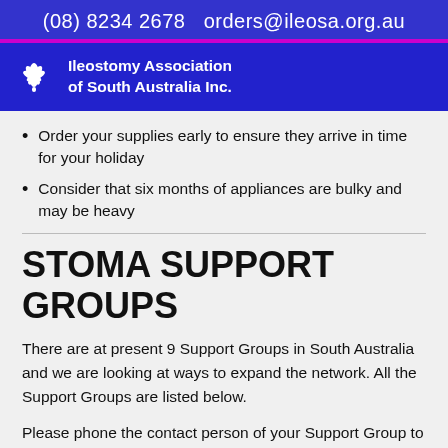(08) 8234 2678  orders@ileosa.org.au
[Figure (logo): Ileostomy Association of South Australia Inc. logo with white lotus/flower icon on blue background]
Order your supplies early to ensure they arrive in time for your holiday
Consider that six months of appliances are bulky and may be heavy
STOMA SUPPORT GROUPS
There are at present 9 Support Groups in South Australia and we are looking at ways to expand the network. All the Support Groups are listed below.
Please phone the contact person of your Support Group to